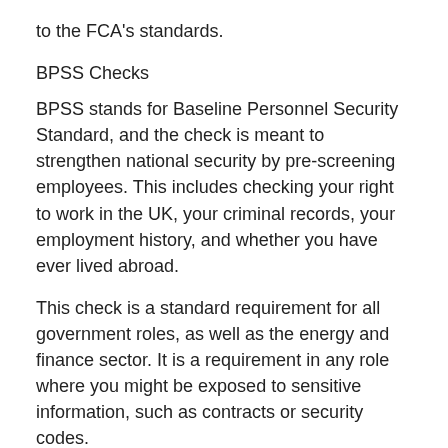to the FCA's standards.
BPSS Checks
BPSS stands for Baseline Personnel Security Standard, and the check is meant to strengthen national security by pre-screening employees. This includes checking your right to work in the UK, your criminal records, your employment history, and whether you have ever lived abroad.
This check is a standard requirement for all government roles, as well as the energy and finance sector. It is a requirement in any role where you might be exposed to sensitive information, such as contracts or security codes.
Driving Licence Checks
Driving licence or DVLA checks ensure you have a valid UK driving licence. This is necessary to work in any role in which driving is required, for example paramedics, truck